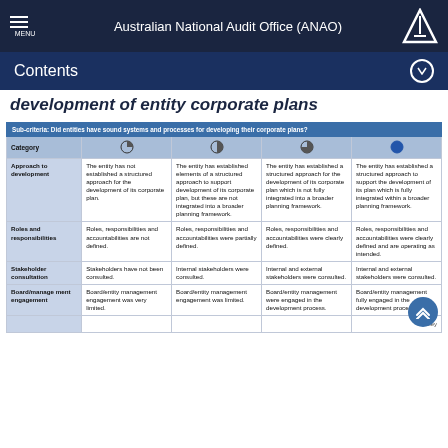Australian National Audit Office (ANAO)
Contents
development of entity corporate plans
| Category | [quarter circle] | [half circle] | [three-quarter circle] | [full circle] |
| --- | --- | --- | --- | --- |
| Approach to development | The entity has not established a structured approach for the development of its corporate plan. | The entity has established elements of a structured approach to support development of its corporate plan, but these are not integrated into a broader planning framework. | The entity has established a structured approach for the development of its corporate plan which is not fully integrated into a broader planning framework. | The entity has established a structured approach to support the development of its plan which is fully integrated within a broader planning framework. |
| Roles and responsibilities | Roles, responsibilities and accountabilities are not defined. | Roles, responsibilities and accountabilities were partially defined. | Roles, responsibilities and accountabilities were clearly defined. | Roles, responsibilities and accountabilities were clearly defined and are operating as intended. |
| Stakeholder consultation | Stakeholders have not been consulted. | Internal stakeholders were consulted. | Internal and external stakeholders were consulted. | Internal and external stakeholders were consulted. |
| Board/management engagement | Board/entity management engagement was very limited. | Board/entity management engagement was limited. | Board/entity management were engaged in the development process. | Board/entity management fully engaged in the development process. |